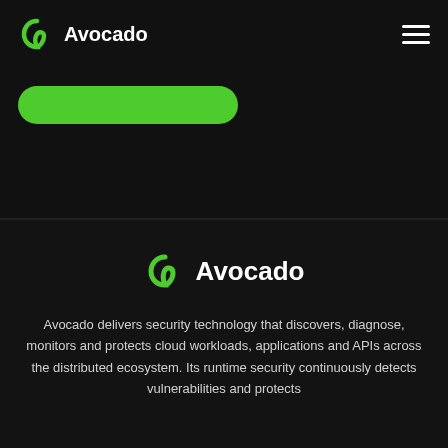[Figure (logo): Avocado logo with green icon and white text in top navigation bar]
[Figure (other): Hamburger menu icon (three horizontal white lines) in top right of navigation bar]
[Figure (other): Green rounded rectangle button/pill shape below navigation bar]
[Figure (logo): Centered Avocado logo with green icon and white text in bottom section]
Avocado delivers security technology that discovers, diagnose, monitors and protects cloud workloads, applications and APIs across the distributed ecosystem. Its runtime security continuously detects vulnerabilities and protects